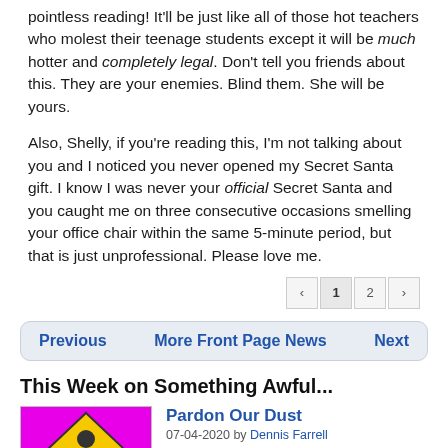pointless reading! It'll be just like all of those hot teachers who molest their teenage students except it will be much hotter and completely legal. Don't tell you friends about this. They are your enemies. Blind them. She will be yours.
Also, Shelly, if you're reading this, I'm not talking about you and I noticed you never opened my Secret Santa gift. I know I was never your official Secret Santa and you caught me on three consecutive occasions smelling your office chair within the same 5-minute period, but that is just unprofessional. Please love me.
‹ 1 2 ›
Previous   More Front Page News   Next
This Week on Something Awful...
Pardon Our Dust
07-04-2020 by Dennis Farrell
Something Awful is in the process of changing hands to a new owner. In the meantime we're pausing all updates and halting production on our propaganda comic partnership with Northrop Grumman.